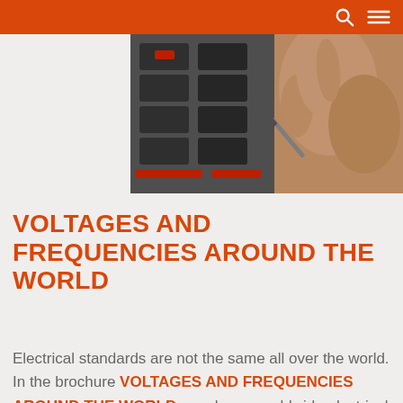[Figure (photo): Close-up photo of an electrical panel/circuit breakers with a hand using a tool, ABB equipment visible]
VOLTAGES AND FREQUENCIES AROUND THE WORLD
Electrical standards are not the same all over the world. In the brochure VOLTAGES AND FREQUENCIES AROUND THE WORLD are shown worldwide electrical standards, with voltage and frequency referred to the industrial sector.